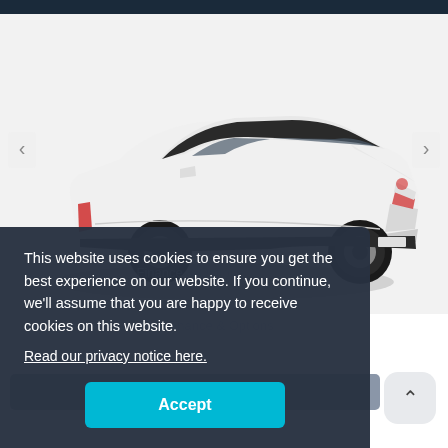[Figure (photo): White Toyota C-HR crossover SUV displayed on a light grey background, with left and right navigation arrows on either side of the image. A dark top navigation bar runs across the top.]
This website uses cookies to ensure you get the best experience on our website. If you continue, we'll assume that you are happy to receive cookies on this website.
Read our privacy notice here.
Accept